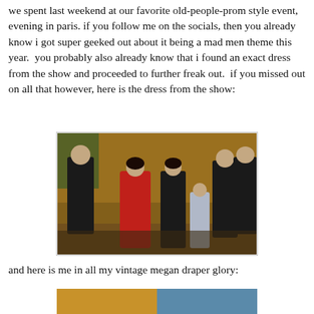we spent last weekend at our favorite old-people-prom style event, evening in paris. if you follow me on the socials, then you already know i got super geeked out about it being a mad men theme this year.  you probably also already know that i found an exact dress from the show and proceeded to further freak out.  if you missed out on all that however, here is the dress from the show:
[Figure (photo): A group of people dressed in formal 1960s-style evening wear. A woman in a red dress stands in the center, flanked by men in tuxedos and another woman in a black dress. A young girl in a silver dress is also present.]
and here is me in all my vintage megan draper glory:
[Figure (photo): Partially visible photo at bottom of page.]